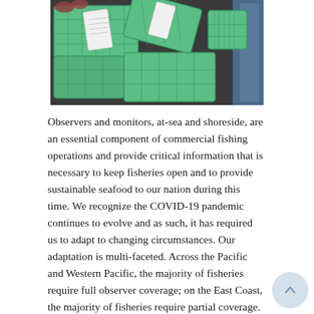[Figure (photo): Aerial or overhead view of green plastic fishing crates/bins stacked on what appears to be a dock or vessel deck, with white labels attached.]
Observers and monitors, at-sea and shoreside, are an essential component of commercial fishing operations and provide critical information that is necessary to keep fisheries open and to provide sustainable seafood to our nation during this time. We recognize the COVID-19 pandemic continues to evolve and as such, it has required us to adapt to changing circumstances. Our adaptation is multi-faceted. Across the Pacific and Western Pacific, the majority of fisheries require full observer coverage; on the East Coast, the majority of fisheries require partial coverage. The differences in the requirements are an important reason that we have used our ability to waive observer coverage in some regions and